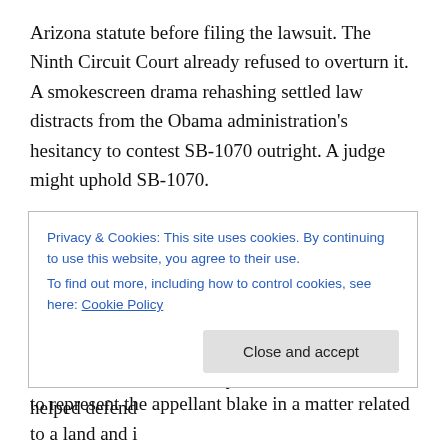Arizona statute before filing the lawsuit. The Ninth Circuit Court already refused to overturn it. A smokescreen drama rehashing settled law distracts from the Obama administration's hesitancy to contest SB-1070 outright. A judge might uphold SB-1070.
Attorney Kris Kobach, an immigration law specialist who drafted SB-1070, said the challenges to the law are heavy on rhetoric, but “light on legal arguments.” The University of Missouri-Kansas City School of Law professor and candidate for secretary of state in Kansas helped defend
Privacy & Cookies: This site uses cookies. By continuing to use this website, you agree to their use.
To find out more, including how to control cookies, see here: Cookie Policy
to represent the appellant blake in a matter related to a land and i...